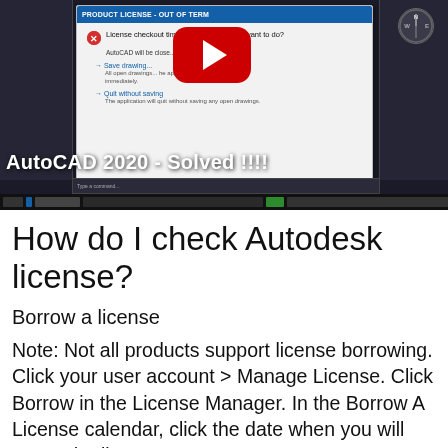[Figure (screenshot): Screenshot of AutoCAD 2020 with a license checkout timeout dialog box showing options to save drawing or quit without saving. A YouTube play button overlay is visible. Text overlay reads: AutoCAD 2020 - Solved !!!!]
How do I check Autodesk license?
Borrow a license
Note: Not all products support license borrowing. Click your user account > Manage License. Click Borrow in the License Manager. In the Borrow A License calendar, click the date when you will return the license.